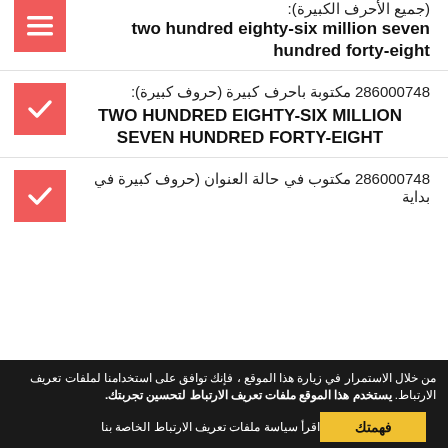(جميع الأحرف الكبيرة): two hundred eighty-six million seven hundred forty-eight
286000748 مكتوبة باحرف كبيرة (حروف كبيرة): TWO HUNDRED EIGHTY-SIX MILLION SEVEN HUNDRED FORTY-EIGHT
286000748 مكتوب في حالة العنوان (حروف كبيرة في بداية
من خلال الاستمرار في زيارة هذا الموقع ، فإنك توافق على استخدامنا لملفات تعريف الارتباط. يستخدم هذا الموقع ملفات تعريف الارتباط لتحسين تجربتك.
اقرأ سياسة ملفات تعريف الارتباط الخاصة بنا
فهمتك